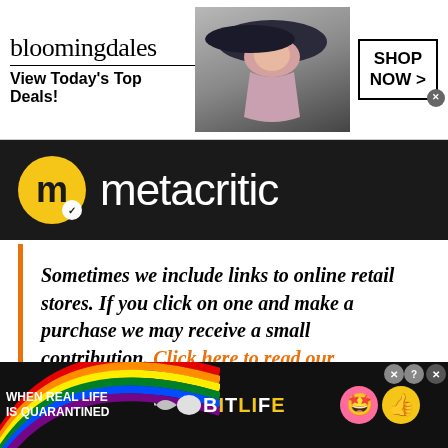[Figure (screenshot): Bloomingdales advertisement banner: logo text 'bloomingdales' with 'View Today's Top Deals!' tagline, woman in hat model photo, and 'SHOP NOW >' button box]
[Figure (logo): Metacritic logo: yellow circle with 'M' and checkmark on dark/black background with 'metacritic' text in white]
Sometimes we include links to online retail stores. If you click on one and make a purchase we may receive a small contribution. Click here to read our
Privacy & Cookies: This site uses cookies. By continuing to use this website,
[Figure (screenshot): BitLife advertisement: 'WHEN REAL LIFE IS QUARANTINED' text on dark background with rainbow, BitLife logo, sperm icon, and emoji icons (star face, thumbs up). Close and help buttons top right.]